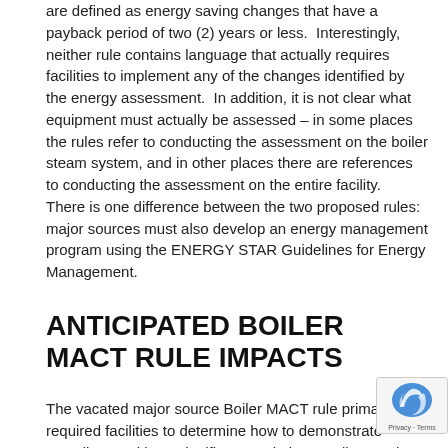are defined as energy saving changes that have a payback period of two (2) years or less.  Interestingly, neither rule contains language that actually requires facilities to implement any of the changes identified by the energy assessment.  In addition, it is not clear what equipment must actually be assessed – in some places the rules refer to conducting the assessment on the boiler steam system, and in other places there are references to conducting the assessment on the entire facility.  There is one difference between the two proposed rules: major sources must also develop an energy management program using the ENERGY STAR Guidelines for Energy Management.
ANTICIPATED BOILER MACT RULE IMPACTS
The vacated major source Boiler MACT rule primarily required facilities to determine how to demonstrate compliance without significant capital expenditure.  The proposed major